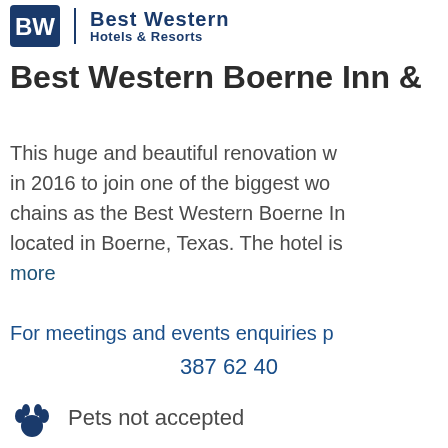[Figure (logo): Best Western Hotels & Resorts logo with BW icon and text]
Best Western Boerne Inn &
This huge and beautiful renovation w... in 2016 to join one of the biggest wo... chains as the Best Western Boerne In... located in Boerne, Texas. The hotel is... more
For meetings and events enquiries p... 387 62 40
Pets not accepted